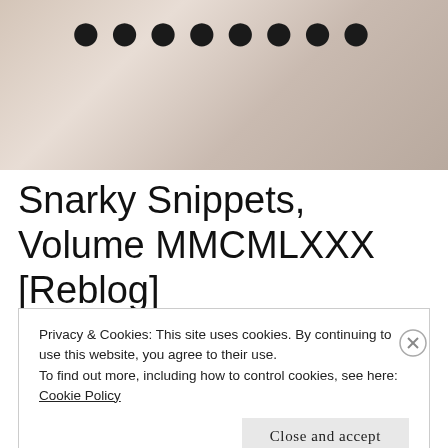[Figure (photo): Textured beige/tan background header image with large bold dark circular dots/text along the top edge]
Snarky Snippets, Volume MMCMLXXX [Reblog]
Privacy & Cookies: This site uses cookies. By continuing to use this website, you agree to their use.
To find out more, including how to control cookies, see here: Cookie Policy
Close and accept